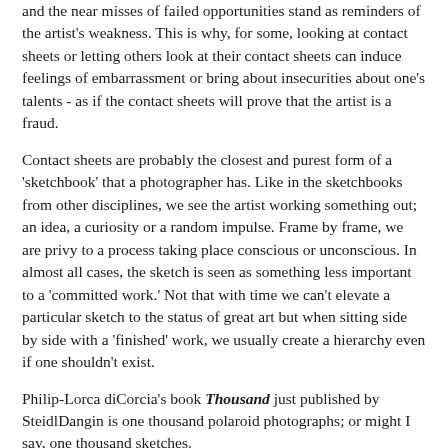and the near misses of failed opportunities stand as reminders of the artist's weakness. This is why, for some, looking at contact sheets or letting others look at their contact sheets can induce feelings of embarrassment or bring about insecurities about one's talents - as if the contact sheets will prove that the artist is a fraud.
Contact sheets are probably the closest and purest form of a 'sketchbook' that a photographer has. Like in the sketchbooks from other disciplines, we see the artist working something out; an idea, a curiosity or a random impulse. Frame by frame, we are privy to a process taking place conscious or unconscious. In almost all cases, the sketch is seen as something less important to a 'committed work.' Not that with time we can't elevate a particular sketch to the status of great art but when sitting side by side with a 'finished' work, we usually create a hierarchy even if one shouldn't exist.
Philip-Lorca diCorcia's book Thousand just published by SteidlDangin is one thousand polaroid photographs; or might I say, one thousand sketches.
I say sketches for many reasons. First and foremost, I cannot help but to create the hierarchy I mentioned above as many of these polaroids were made to answer a technical question; is the lighting